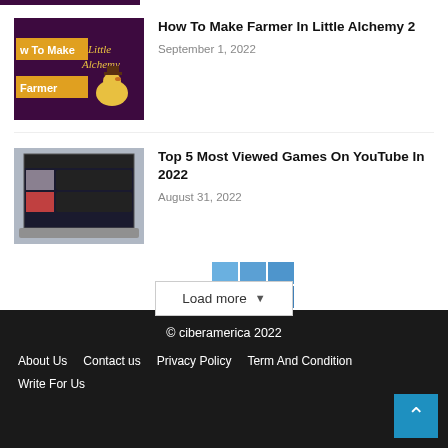[Figure (screenshot): Partial thumbnail of 'How To Make Farmer in Little Alchemy 2' with dark purple background and yellow text]
How To Make Farmer In Little Alchemy 2
September 1, 2022
[Figure (screenshot): Screenshot of a YouTube gaming page on a laptop screen]
Top 5 Most Viewed Games On YouTube In 2022
August 31, 2022
[Figure (other): Load more button with Windows-style icon overlay]
© ciberamerica 2022
About Us   Contact us   Privacy Policy   Term And Condition
Write For Us